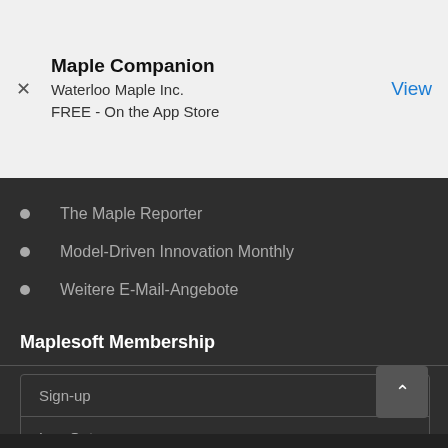[Figure (screenshot): App Store banner for Maple Companion by Waterloo Maple Inc., FREE on the App Store, with a close (X) button on the left and a blue View button on the right]
The Maple Reporter
Model-Driven Innovation Monthly
Weitere E-Mail-Angebote
Maplesoft Membership
| Sign-up |
| Log-Out |